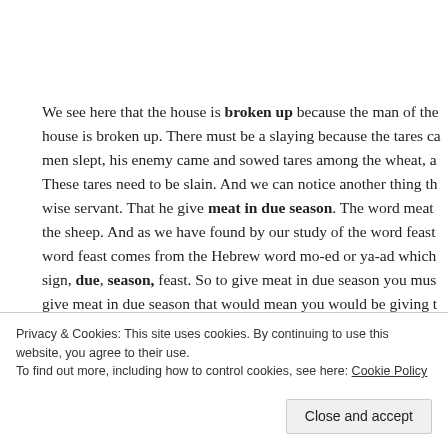We see here that the house is broken up because the man of the house is broken up. There must be a slaying because the tares came men slept, his enemy came and sowed tares among the wheat, and These tares need to be slain. And we can notice another thing that wise servant. That he give meat in due season. The word meat the sheep. And as we have found by our study of the word feast word feast comes from the Hebrew word mo-ed or ya-ad which sign, due, season, feast. So to give meat in due season you must give meat in due season that would mean you would be giving t
Privacy & Cookies: This site uses cookies. By continuing to use this website, you agree to their use.
To find out more, including how to control cookies, see here: Cookie Policy